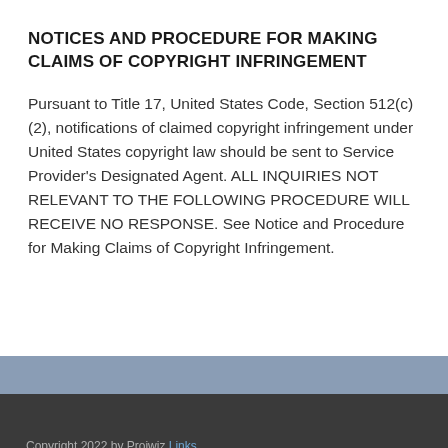NOTICES AND PROCEDURE FOR MAKING CLAIMS OF COPYRIGHT INFRINGEMENT
Pursuant to Title 17, United States Code, Section 512(c)(2), notifications of claimed copyright infringement under United States copyright law should be sent to Service Provider's Designated Agent. ALL INQUIRIES NOT RELEVANT TO THE FOLLOWING PROCEDURE WILL RECEIVE NO RESPONSE. See Notice and Procedure for Making Claims of Copyright Infringement.
Copyright 2022 by Projwiz Links | Terms Of Use | Privacy Statement